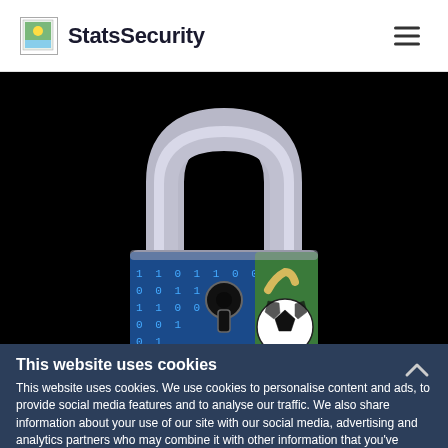StatsSecurity
[Figure (photo): A padlock with a digital binary code and soccer/football imagery on its body, set against a black background. The padlock shackle is silver/metallic, and the body displays binary digits (0s and 1s) in blue and a soccer ball with a player's foot visible on the right side.]
This website uses cookies
This website uses cookies. We use cookies to personalise content and ads, to provide social media features and to analyse our traffic. We also share information about your use of our site with our social media, advertising and analytics partners who may combine it with other information that you've...